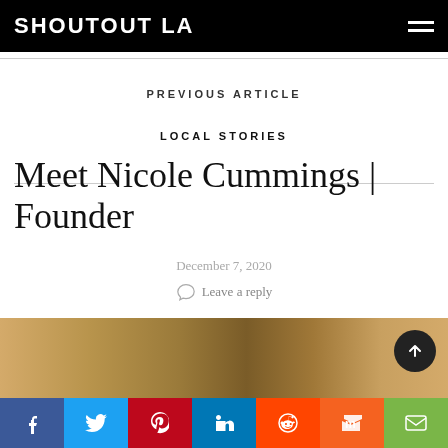SHOUTOUT LA
PREVIOUS ARTICLE
LOCAL STORIES
Meet Nicole Cummings | Founder
December 7, 2020
Leave a reply
[Figure (photo): Partial outdoor photo showing stone wall and wooden slat wall architectural elements in warm golden light]
Social share bar: Facebook, Twitter, Pinterest, LinkedIn, Reddit, Mix, Email